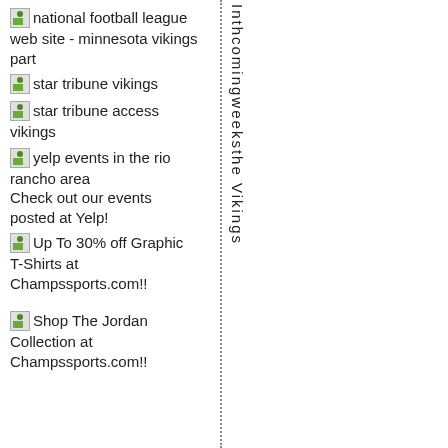national football league web site - minnesota vikings part
star tribune vikings
star tribune access vikings
yelp events in the rio rancho area
Check out our events posted at Yelp!
Up To 30% off Graphic T-Shirts at Champssports.com!!
Shop The Jordan Collection at Champssports.com!!
Inthcomingweeksthe Vikings